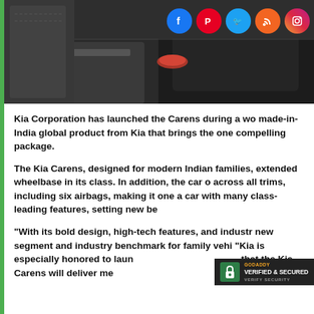[Figure (photo): Car interior photo showing dark dashboard/console area, partially cropped. Social media icons (Facebook, Pinterest, Twitter, RSS, Instagram) overlaid in top right corner.]
Kia Corporation has launched the Carens during a wo made-in-India global product from Kia that brings the one compelling package.
The Kia Carens, designed for modern Indian families, extended wheelbase in its class. In addition, the car o across all trims, including six airbags, making it one a car with many class-leading features, setting new be
“With its bold design, high-tech features, and industr new segment and industry benchmark for family vehi “Kia is especially honored to laun that the Kia Carens will deliver me